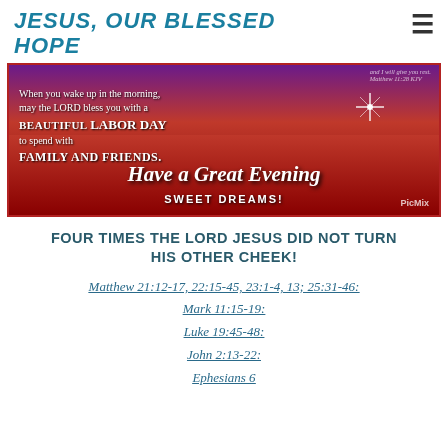JESUS, OUR BLESSED HOPE
[Figure (photo): Decorative holiday image with red flower field and purple sky. Text reads: 'When you wake up in the morning, may the LORD bless you with a BEAUTIFUL LABOR DAY to spend with FAMILY AND FRIENDS. Have a Great Evening SWEET DREAMS! PicMix']
FOUR TIMES THE LORD JESUS DID NOT TURN HIS OTHER CHEEK!
Matthew 21:12-17, 22:15-45, 23:1-4, 13; 25:31-46; Mark 11:15-19; Luke 19:45-48; John 2:13-22;